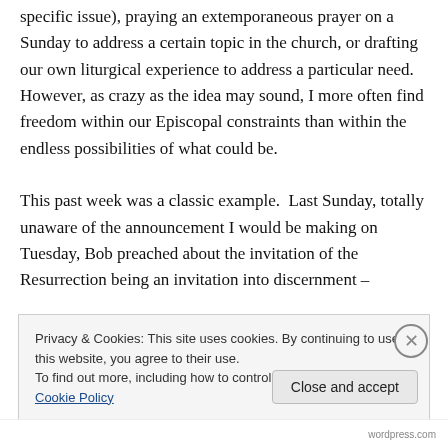specific issue), praying an extemporaneous prayer on a Sunday to address a certain topic in the church, or drafting our own liturgical experience to address a particular need. However, as crazy as the idea may sound, I more often find freedom within our Episcopal constraints than within the endless possibilities of what could be.

This past week was a classic example.  Last Sunday, totally unaware of the announcement I would be making on Tuesday, Bob preached about the invitation of the Resurrection being an invitation into discernment –
Privacy & Cookies: This site uses cookies. By continuing to use this website, you agree to their use.
To find out more, including how to control cookies, see here: Cookie Policy
Close and accept